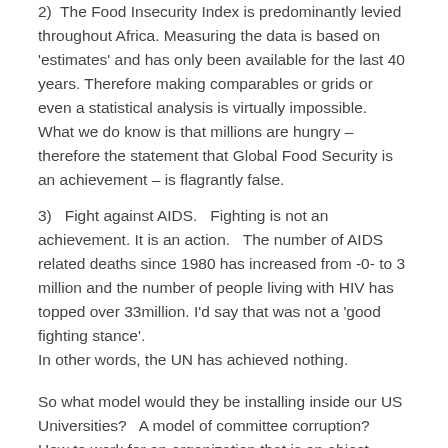2)  The Food Insecurity Index is predominantly levied throughout Africa. Measuring the data is based on 'estimates' and has only been available for the last 40 years. Therefore making comparables or grids or even a statistical analysis is virtually impossible.   What we do know is that millions are hungry – therefore the statement that Global Food Security is an achievement – is flagrantly false.
3)  Fight against AIDS.   Fighting is not an achievement. It is an action.   The number of AIDS related deaths since 1980 has increased from -0- to 3 million and the number of people living with HIV has topped over 33million. I'd say that was not a 'good fighting stance'.
In other words, the UN has achieved nothing.
So what model would they be installing inside our US Universities?   A model of committee corruption?   How to work for an organization that is an abject failure, has accomplished nothing, but pays huge salaries, provides stellar healthcare, and a bountiful pension while